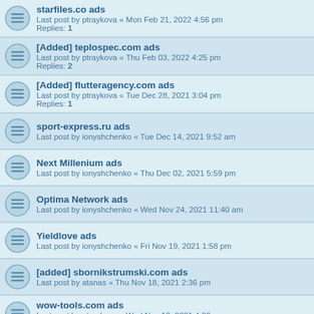starfiles.co ads
Last post by ptraykova « Mon Feb 21, 2022 4:56 pm
Replies: 1
[Added] teplospec.com ads
Last post by ptraykova « Thu Feb 03, 2022 4:25 pm
Replies: 2
[Added] flutteragency.com ads
Last post by ptraykova « Tue Dec 28, 2021 3:04 pm
Replies: 1
sport-express.ru ads
Last post by ionyshchenko « Tue Dec 14, 2021 9:52 am
Next Millenium ads
Last post by ionyshchenko « Thu Dec 02, 2021 5:59 pm
Optima Network ads
Last post by ionyshchenko « Wed Nov 24, 2021 11:40 am
Yieldlove ads
Last post by ionyshchenko « Fri Nov 19, 2021 1:58 pm
[added] sbornikstrumski.com ads
Last post by atanas « Thu Nov 18, 2021 2:36 pm
wow-tools.com ads
Last post by ptraykova « Wed Nov 10, 2021 4:06 pm
Replies: 1
[Added] Roxot ads
Last post by ionyshchenko « Mon Nov 08, 2021 5:26 pm
[Added] Diladons ads